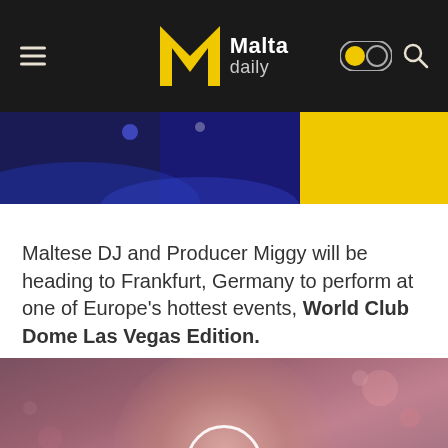Malta daily
[Figure (photo): Cropped top portion of a concert/event photo with blue and yellow lighting]
Maltese DJ and Producer Miggy will be heading to Frankfurt, Germany to perform at one of Europe's hottest events, World Club Dome Las Vegas Edition.
[Figure (photo): Close-up video thumbnail of a person's face with a play button overlay, warm pink/purple tones]